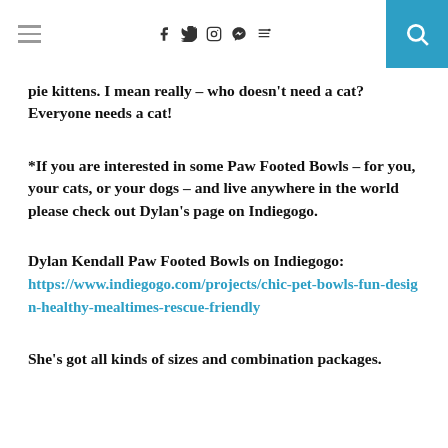[hamburger menu] [f] [twitter] [instagram] [pinterest] [rss] [search]
pie kittens. I mean really – who doesn't need a cat? Everyone needs a cat!
*If you are interested in some Paw Footed Bowls – for you, your cats, or your dogs – and live anywhere in the world please check out Dylan's page on Indiegogo.
Dylan Kendall Paw Footed Bowls on Indiegogo: https://www.indiegogo.com/projects/chic-pet-bowls-fun-design-healthy-mealtimes-rescue-friendly
She's got all kinds of sizes and combination packages.